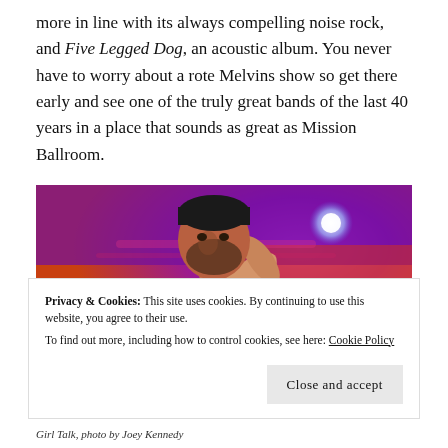more in line with its always compelling noise rock, and Five Legged Dog, an acoustic album. You never have to worry about a rote Melvins show so get there early and see one of the truly great bands of the last 40 years in a place that sounds as great as Mission Ballroom.
[Figure (photo): Concert photo of a bearded man wearing a black beanie with his arm raised behind his head, lit by vivid purple, blue, red, and orange stage lighting.]
Privacy & Cookies: This site uses cookies. By continuing to use this website, you agree to their use.
To find out more, including how to control cookies, see here: Cookie Policy
Girl Talk, photo by Joey Kennedy